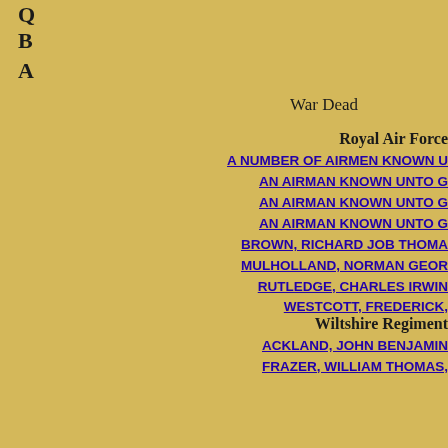Q
B
A
War Dead
Royal Air Force
A NUMBER OF AIRMEN KNOWN U...
AN AIRMAN KNOWN UNTO G...
AN AIRMAN KNOWN UNTO G...
AN AIRMAN KNOWN UNTO G...
BROWN, RICHARD JOB THOMA...
MULHOLLAND, NORMAN GEOR...
RUTLEDGE, CHARLES IRWIN...
WESTCOTT, FREDERICK,...
Wiltshire Regiment
ACKLAND, JOHN BENJAMIN...
FRAZER, WILLIAM THOMAS,...